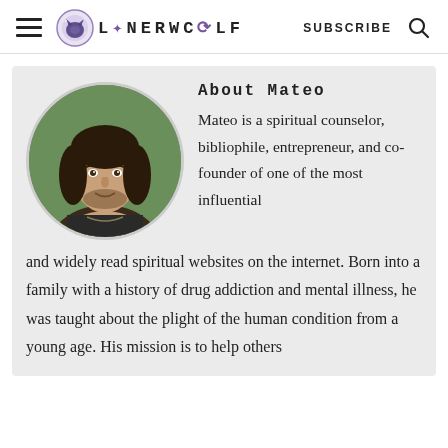LONERWOLF  SUBSCRIBE
[Figure (photo): Circular portrait photo of Mateo, a young man with long dark hair and a beard, smiling outdoors with green foliage in background]
About Mateo
Mateo is a spiritual counselor, bibliophile, entrepreneur, and co-founder of one of the most influential and widely read spiritual websites on the internet. Born into a family with a history of drug addiction and mental illness, he was taught about the plight of the human condition from a young age. His mission is to help others